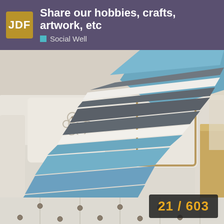JDF  Share our hobbies, crafts, artwork, etc  Social Well
[Figure (photo): A crocheted blanket with blue, grey/dark, and white stripes draped over a white slipcovered sofa with decorative pillows and a wooden side table visible in the background.]
21 / 603